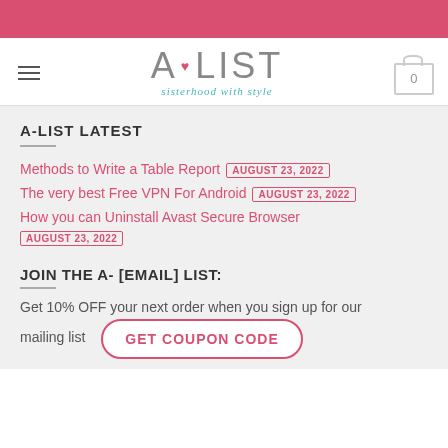A-LIST — sisterhood with style
A-LIST LATEST
Methods to Write a Table Report — AUGUST 23, 2022
The very best Free VPN For Android — AUGUST 23, 2022
How you can Uninstall Avast Secure Browser — AUGUST 23, 2022
JOIN THE A- [EMAIL] LIST:
Get 10% OFF your next order when you sign up for our mailing list
GET COUPON CODE